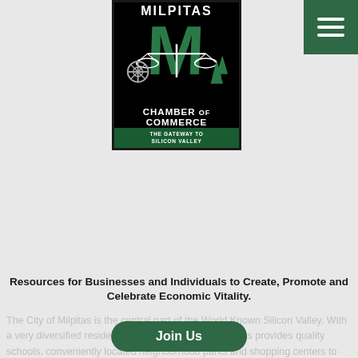[Figure (logo): Milpitas Chamber of Commerce logo - black bordered box with green M letter/scale/lighthouse design, text 'MILPITAS CHAMBER OF COMMERCE THE GATEWAY TO SILICON VALLEY']
Resources for Businesses and Individuals to Create, Promote and Celebrate Economic Vitality.
[Figure (other): Join Us button - dark green rounded pill button with white text]
[Figure (other): Search bar - white rounded pill with Search placeholder and magnifying glass icon]
About Our Chamber
[Figure (photo): Partial dark/black image at bottom of page]